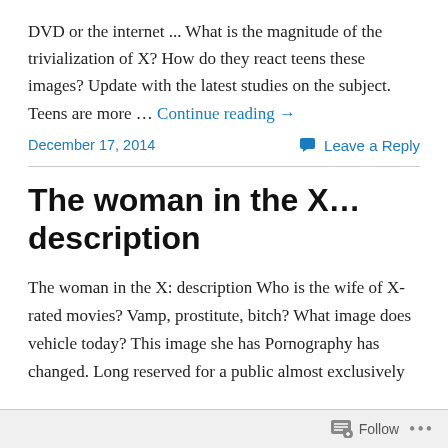DVD or the internet ... What is the magnitude of the trivialization of X? How do they react teens these images? Update with the latest studies on the subject. Teens are more … Continue reading →
December 17, 2014    Leave a Reply
The woman in the X… description
The woman in the X: description Who is the wife of X-rated movies? Vamp, prostitute, bitch? What image does vehicle today? This image she has Pornography has changed. Long reserved for a public almost exclusively
Follow ...